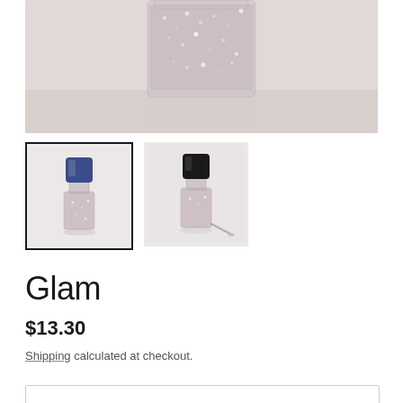[Figure (photo): Close-up photo of a glass jar filled with pink/silver glitter beads on a light pink/white background, cropped to show the top portion of the jar.]
[Figure (photo): Thumbnail 1 (selected, with black border): A nail polish bottle with a blue cap, glittery pink body, on a white background.]
[Figure (photo): Thumbnail 2 (unselected): A nail polish bottle with a black cap, glittery pink body, lying on its side on a white background.]
Glam
$13.30
Shipping calculated at checkout.